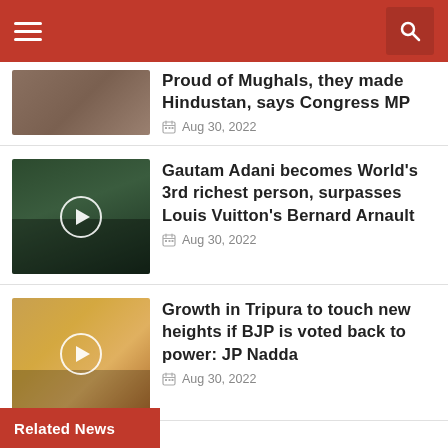Proud of Mughals, they made Hindustan, says Congress MP
Aug 30, 2022
[Figure (photo): Video thumbnail showing a man at outdoor gathering]
Gautam Adani becomes World's 3rd richest person, surpasses Louis Vuitton's Bernard Arnault
Aug 30, 2022
[Figure (photo): Video thumbnail showing officials at a press conference]
Growth in Tripura to touch new heights if BJP is voted back to power: JP Nadda
Aug 30, 2022
Related News